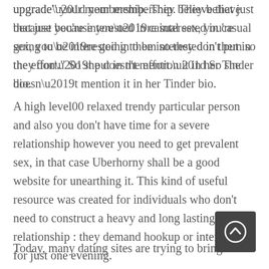upgrade” your membership. They believe that just because you’re interested in casual sex, you’re going to be interested in them so they don’t put in the effort.” So she doesn’t mention it in her Tinder bio.
A high level00 relaxed trendy particular person and also you don’t have time for a severe relationship however you need to get prevalent sex, in that case Uberhorny shall be a good website for unearthing it. This kind of useful resource was created for individuals who don’t need to construct a heavy and long lasting relationship : they demand hookup or intercourse for just one evening.
Today, many dating sites are trying to bring individuals closer to one another, the